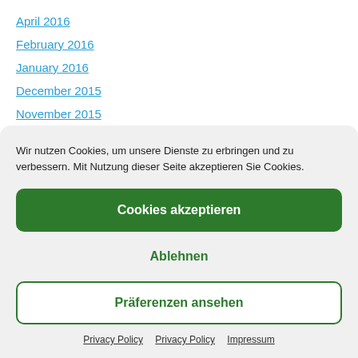April 2016
February 2016
January 2016
December 2015
November 2015
Wir nutzen Cookies, um unsere Dienste zu erbringen und zu verbessern. Mit Nutzung dieser Seite akzeptieren Sie Cookies.
Cookies akzeptieren
Ablehnen
Präferenzen ansehen
Privacy Policy  Privacy Policy  Impressum